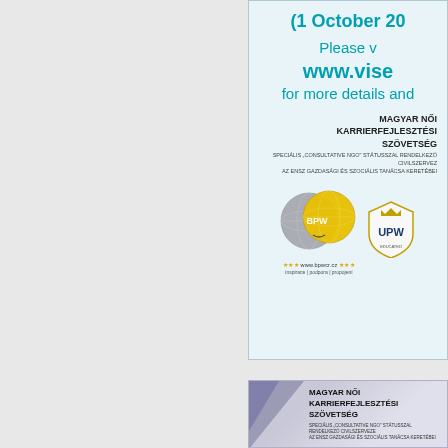[Figure (other): Top advertisement card with light blue background. Shows partial text: '(1 October 20...', 'Please v...', 'www.vise...' in teal/cyan bold, 'for more details and...' Includes Hungarian organization name MAGYAR NŐI KARRIERFEJLESZTÉSI SZÖVETSÉG with subtitle text, BPW globe logo with www.bpwcr.cz URL and stars, and partial UPW badge logo.]
[Figure (other): Bottom advertisement card with purple/lavender gradient background. Shows partial Hungarian organization name MAGYAR NŐI KARRIERFEJLESZTÉSI SZÖVETSÉG with subtitle text in bold black. Left side has diagonal geometric shape in darker purple/grey.]